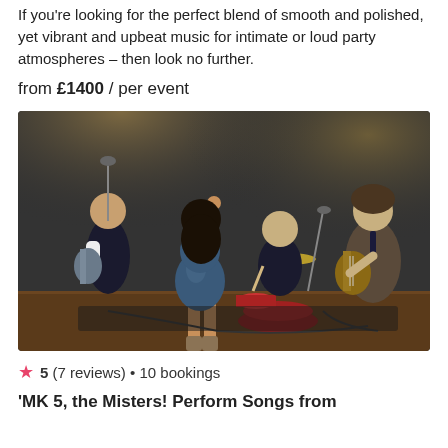If you're looking for the perfect blend of smooth and polished, yet vibrant and upbeat music for intimate or loud party atmospheres – then look no further.
from £1400 / per event
[Figure (photo): A band performing: female singer in sparkly dress with arm raised, guitarist on left, drummer in center, guitarist on right, dark studio background]
5 (7 reviews) • 10 bookings
'MK 5, the Misters! Perform Songs from